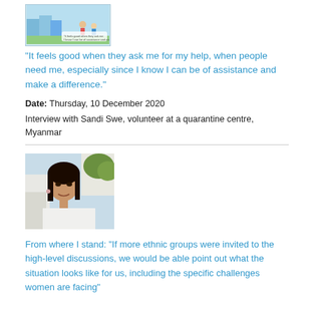[Figure (illustration): Illustrated cartoon image with characters and text about helping and making a difference]
"It feels good when they ask me for my help, when people need me, especially since I know I can be of assistance and make a difference."
Date: Thursday, 10 December 2020
Interview with Sandi Swe, volunteer at a quarantine centre, Myanmar
[Figure (photo): Portrait photo of a woman outdoors with buildings in background]
From where I stand: "If more ethnic groups were invited to the high-level discussions, we would be able point out what the situation looks like for us, including the specific challenges women are facing"